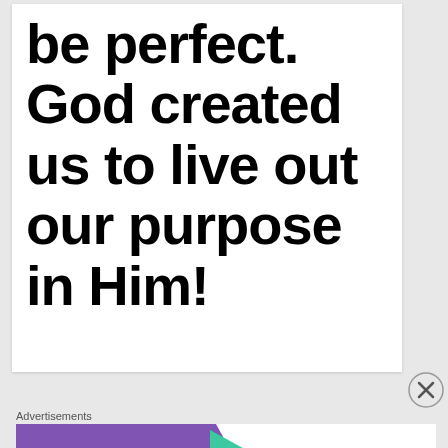be perfect. God created us to live out our purpose in Him!
Advertisements
[Figure (screenshot): WooCommerce advertisement banner: 'How to start selling subscriptions online']